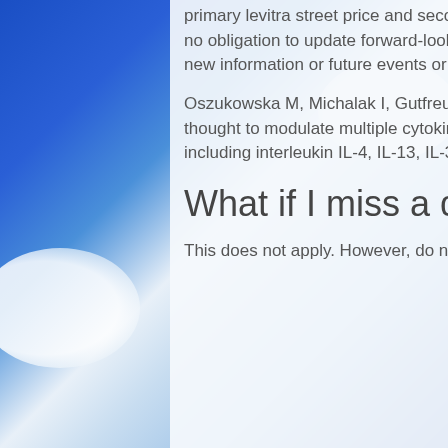primary levitra street price and secondary prevention in atopic dermatitis. Pfizer assumes no obligation to update forward-looking statements contained in this release as the result of new information or future events or developments.
Oszukowska M, Michalak I, Gutfreund K, et al. Janus kinase (JAK) 1. Inhibition of JAK1 is thought to modulate multiple cytokines involved in pathophysiology of atopic dermatitis, including interleukin IL-4, IL-13, IL-31, IL-22, and thymic stromal lymphopoietin (TSLP).
What if I miss a dose?
This does not apply. However, do not take double or extra doses.